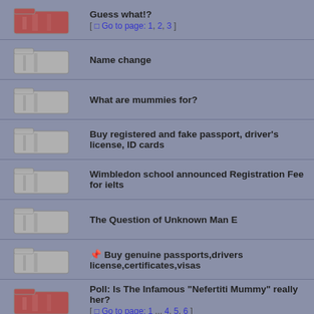Guess what!? [ Go to page: 1, 2, 3 ]
Name change
What are mummies for?
Buy registered and fake passport, driver's license, ID cards
Wimbledon school announced Registration Fee for ielts
The Question of Unknown Man E
Buy genuine passports,drivers license,certificates,visas
Poll: Is The Infamous "Nefertiti Mummy" really her? [ Go to page: 1 ... 4, 5, 6 ]
What are Mummies ?